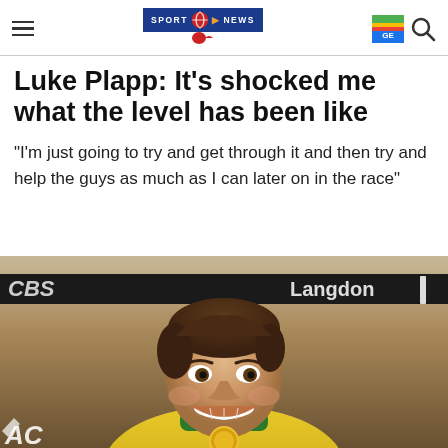SPORT WORLD NEWS
Luke Plapp: It's shocked me what the level has been like
"I'm just going to try and get through it and then try and help the guys as much as I can later on in the race"
[Figure (photo): Photo of Luke Plapp smiling on a podium, wearing a yellow and green Australian jersey, with sponsor banners including 'Langdon' in the background]